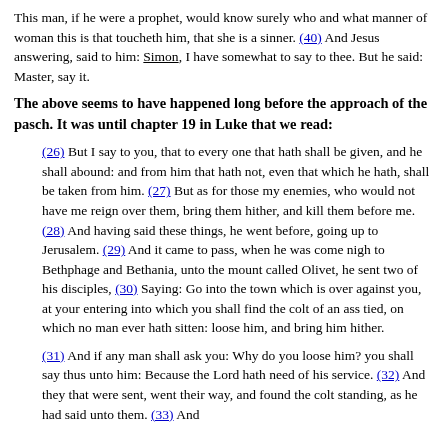This man, if he were a prophet, would know surely who and what manner of woman this is that toucheth him, that she is a sinner. (40) And Jesus answering, said to him: Simon, I have somewhat to say to thee. But he said: Master, say it.
The above seems to have happened long before the approach of the pasch. It was until chapter 19 in Luke that we read:
(26) But I say to you, that to every one that hath shall be given, and he shall abound: and from him that hath not, even that which he hath, shall be taken from him. (27) But as for those my enemies, who would not have me reign over them, bring them hither, and kill them before me. (28) And having said these things, he went before, going up to Jerusalem. (29) And it came to pass, when he was come nigh to Bethphage and Bethania, unto the mount called Olivet, he sent two of his disciples, (30) Saying: Go into the town which is over against you, at your entering into which you shall find the colt of an ass tied, on which no man ever hath sitten: loose him, and bring him hither.
(31) And if any man shall ask you: Why do you loose him? you shall say thus unto him: Because the Lord hath need of his service. (32) And they that were sent, went their way, and found the colt standing, as he had said unto them. (33) And